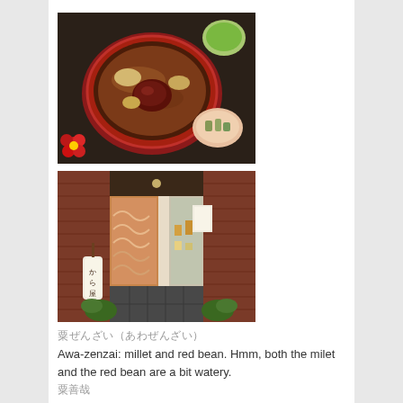[Figure (photo): Top-down view of a Japanese bowl of zenzai (sweet red bean soup with millet) in a red lacquer bowl, with green tea and a small pickled vegetable side dish on a dark wooden tray, with a red decorative flower.]
[Figure (photo): Exterior storefront of a Japanese traditional sweets shop with brick walls, wooden sliding panels with wave patterns, a shop display window and a hanging white lantern sign with Japanese characters.]
粟ぜんざい（あわぜんざい）
Awa-zenzai: millet and red bean. Hmm, both the milet and the red bean are a bit watery.
粟善哉
Posted in 06:Japanese Sweets, 14:和菓子探訪 | Tagged zenzai